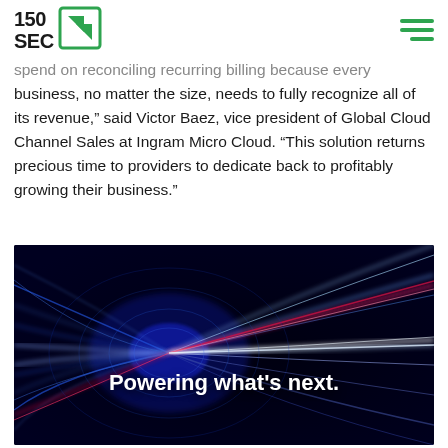150 SEC [logo]
spend on reconciling recurring billing because every business, no matter the size, needs to fully recognize all of its revenue," said Victor Baez, vice president of Global Cloud Channel Sales at Ingram Micro Cloud. "This solution returns precious time to providers to dedicate back to profitably growing their business."
[Figure (photo): Abstract image of glowing blue and red light trails forming a tunnel or vortex against a black background, with the text 'Powering what's next.' overlaid in white bold text at the bottom center.]